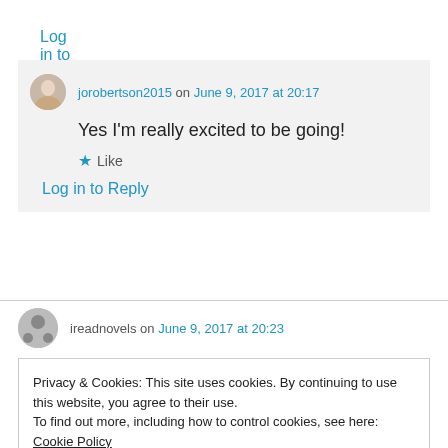Log in to Reply
jorobertson2015 on June 9, 2017 at 20:17
Yes I'm really excited to be going!
★ Like
Log in to Reply
ireadnovels on June 9, 2017 at 20:23
Privacy & Cookies: This site uses cookies. By continuing to use this website, you agree to their use.
To find out more, including how to control cookies, see here: Cookie Policy
Close and accept